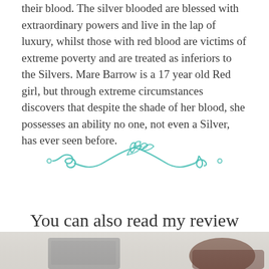their blood. The silver blooded are blessed with extraordinary powers and live in the lap of luxury, whilst those with red blood are victims of extreme poverty and are treated as inferiors to the Silvers. Mare Barrow is a 17 year old Red girl, but through extreme circumstances discovers that despite the shade of her blood, she possesses an ability no one, not even a Silver, has ever seen before.
[Figure (illustration): Decorative teal/turquoise floral flourish divider with swirling vines and leaves]
You can also read my review of Red Queen here
[Figure (photo): Partial photo of a book at the bottom of the page]